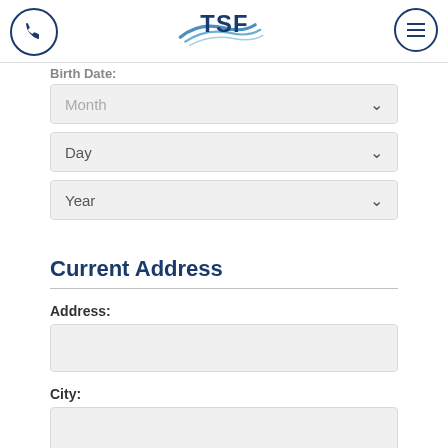TSF logo with phone and menu icons
Birth Date:
Month
Day
Year
Current Address
Address:
City: